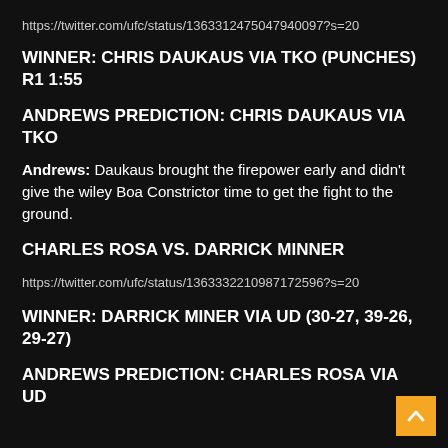https://twitter.com/ufc/status/1363312475047940097?s=20
WINNER: CHRIS DAUKAUS VIA TKO (PUNCHES) R1 1:55
ANDREWS PREDICTION: CHRIS DAUKAUS VIA TKO
Andrews: Daukaus brought the firepower early and didn't give the wiley Boa Constrictor time to get the fight to the ground.
CHARLES ROSA VS. DARRICK MINNER
https://twitter.com/ufc/status/1363332210987172596?s=20
WINNER: DARRICK MINER VIA UD (30-27, 39-26, 29-27)
ANDREWS PREDICTION: CHARLES ROSA VIA UD